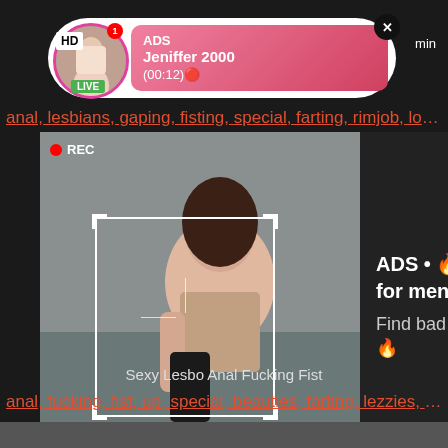[Figure (screenshot): Adult content website screenshot showing video thumbnails with overlay ads. Top ad shows a live user profile 'Jeniffer 2000' with LIVE badge and duration (00:12). A video thumbnail shows a woman with REC label and detection box overlay. Side panel shows dating ad text. Tags rows show adult content keywords.]
anal, lesbians, gaping, fisting, special, farting, rimjob, loo...
ADS • 🔥 Dating for men! Find bad girls here 🔥
Sexy Lesbo Anal Fucking Fist
anal, fucking, fist, up, special, beauties, farting, lezzies, a...